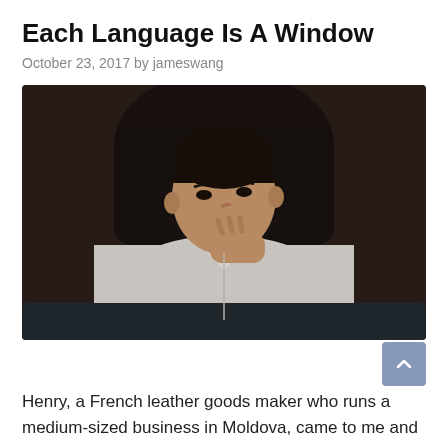Each Language Is A Window
October 23, 2017 by jameswang
[Figure (photo): A man in a white button-up shirt sitting at a desk leaning forward with his hand on his chin, appearing to be deep in thought, seated in a black leather chair against a dark wooden background.]
Henry, a French leather goods maker who runs a medium-sized business in Moldova, came to me and